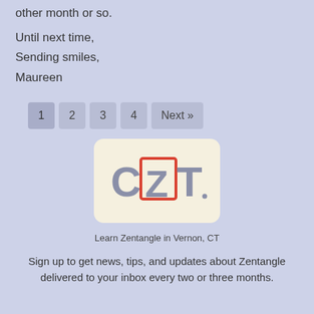other month or so.
Until next time,
Sending smiles,
Maureen
[Figure (other): Pagination navigation with buttons labeled 1, 2, 3, 4, and Next »]
[Figure (logo): CZT logo — rounded cream rectangle with large letters C, Z (in red square), T in grey. Text below: Learn Zentangle in Vernon, CT]
Learn Zentangle in Vernon, CT
Sign up to get news, tips, and updates about Zentangle delivered to your inbox every two or three months.